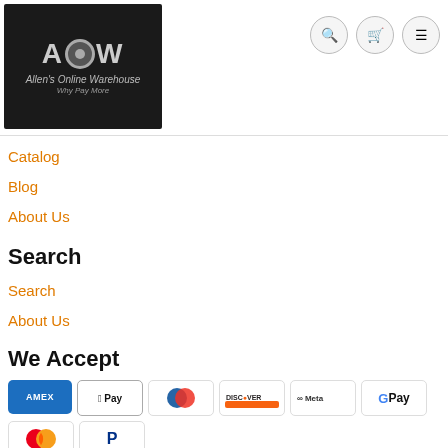[Figure (logo): AOW Allen's Online Warehouse logo on dark background with tagline 'Why Pay More']
Catalog
Blog
About Us
Search
Search
About Us
We Accept
[Figure (infographic): Payment method badges: Amex, Apple Pay, Diners Club, Discover, Meta Pay, Google Pay, Mastercard, PayPal, OPay, Venmo, Visa]